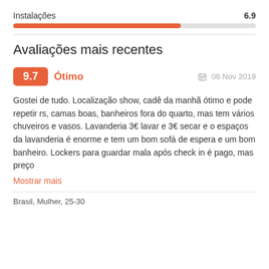Instalações  6.9
[Figure (other): Horizontal progress bar showing 6.9/10 score for Instalações, filled in orange to approximately 69%]
Avaliações mais recentes
9.7  Ótimo  06 Nov 2019
Gostei de tudo. Localização show, cadê da manhã ótimo e pode repetir rs, camas boas, banheiros fora do quarto, mas tem vários chuveiros e vasos. Lavanderia 3€ lavar e 3€ secar e o espaços da lavanderia é enorme e tem um bom sofá de espera e um bom banheiro. Lockers para guardar mala após check in é pago, mas preço
Mostrar mais
Brasil, Mulher, 25-30